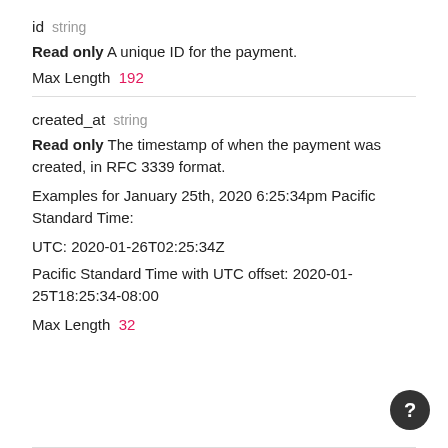id  string
Read only A unique ID for the payment.
Max Length  192
created_at  string
Read only The timestamp of when the payment was created, in RFC 3339 format.
Examples for January 25th, 2020 6:25:34pm Pacific Standard Time:
UTC: 2020-01-26T02:25:34Z
Pacific Standard Time with UTC offset: 2020-01-25T18:25:34-08:00
Max Length  32